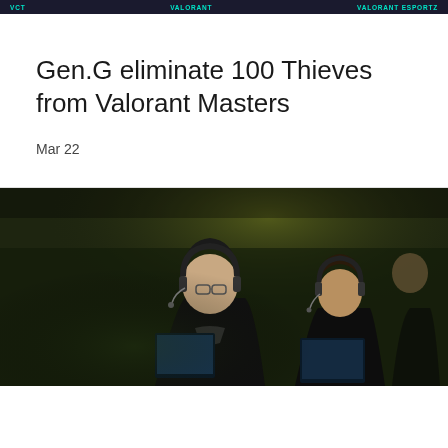VCT   VALORANT   VALORANT ESPORTZ
Gen.G eliminate 100 Thieves from Valorant Masters
Mar 22
[Figure (photo): Esports players competing at Valorant Masters event, seated at gaming stations with headsets and microphones, wearing black team jerseys]